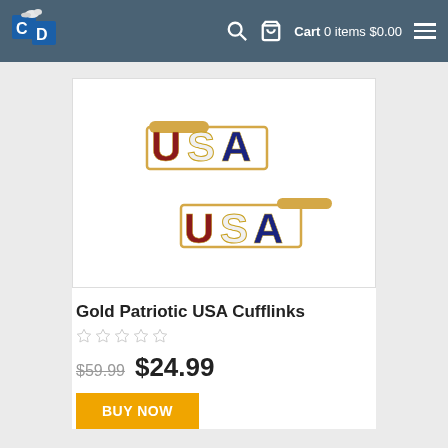CD logo | Cart 0 items $0.00
[Figure (photo): Two gold USA cufflinks with red, white, and blue enamel lettering on white background]
Gold Patriotic USA Cufflinks
★★★★★ (0 stars rating)
$59.99 $24.99
BUY NOW